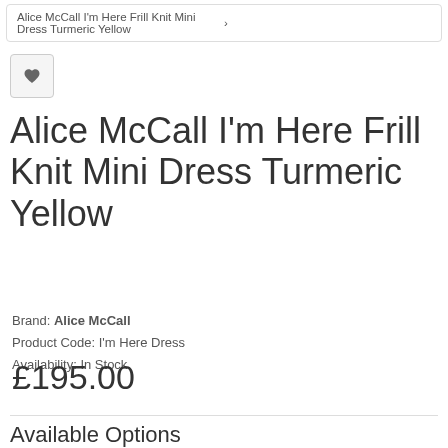Alice McCall I'm Here Frill Knit Mini Dress Turmeric Yellow
Alice McCall I'm Here Frill Knit Mini Dress Turmeric Yellow
Brand: Alice McCall
Product Code: I'm Here Dress
Availability: In Stock
£195.00
Available Options
* Size
Please Select